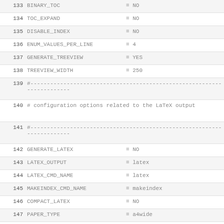133 BINARY_TOC                    = NO
134 TOC_EXPAND                     = NO
135 DISABLE_INDEX                  = NO
136 ENUM_VALUES_PER_LINE           = 4
137 GENERATE_TREEVIEW              = YES
138 TREEVIEW_WIDTH                 = 250
139 #--------------------------------------------
140 # configuration options related to the LaTeX output
141 #--------------------------------------------
142 GENERATE_LATEX                 = NO
143 LATEX_OUTPUT                   = latex
144 LATEX_CMD_NAME                 = latex
145 MAKEINDEX_CMD_NAME             = makeindex
146 COMPACT_LATEX                  = NO
147 PAPER_TYPE                     = a4wide
148 EXTRA_PACKAGES                 =
149 LATEX_HEADER                   =
150 PDF_HYPERLINKS                 = YES
151 USE_PDFLATEX                   = YES